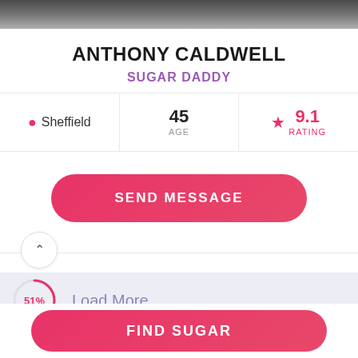[Figure (photo): Top photo strip — partial photo of a person, dark background]
ANTHONY CALDWELL
SUGAR DADDY
| Location | Age | Rating |
| --- | --- | --- |
| Sheffield | 45 AGE | ★ 9.1 RATING |
SEND MESSAGE
51%
Load More
FIND SUGAR